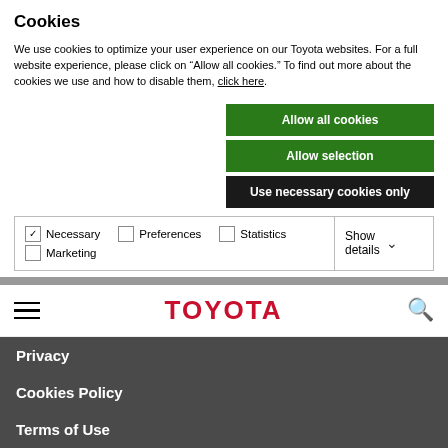Cookies
We use cookies to optimize your user experience on our Toyota websites. For a full website experience, please click on “Allow all cookies.” To find out more about the cookies we use and how to disable them, click here.
Allow all cookies
Allow selection
Use necessary cookies only
Necessary  Preferences  Statistics  Marketing  Show details
[Figure (logo): Toyota logo in red text]
Privacy
Cookies Policy
Terms of Use
Do Not Sell My Info (U.S. residents)